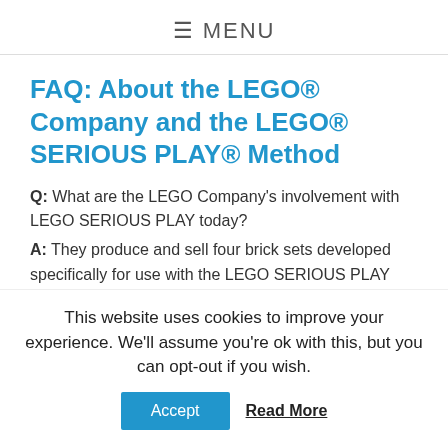≡ MENU
FAQ: About the LEGO® Company and the LEGO® SERIOUS PLAY® Method
Q: What are the LEGO Company's involvement with LEGO SERIOUS PLAY today?
A: They produce and sell four brick sets developed specifically for use with the LEGO SERIOUS PLAY method and they provide a set of Trademark Guidelines, which everyone involved with or using the method must comply with. To download the guidelines click here
This website uses cookies to improve your experience. We'll assume you're ok with this, but you can opt-out if you wish.
Accept  Read More